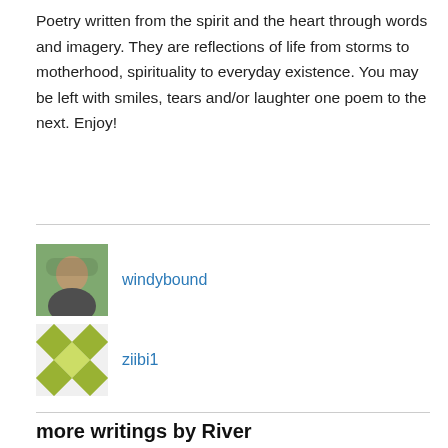Poetry written from the spirit and the heart through words and imagery. They are reflections of life from storms to motherhood, spirituality to everyday existence. You may be left with smiles, tears and/or laughter one poem to the next. Enjoy!
windybound
ziibi1
more writings by River
Privacy & Cookies: This site uses cookies. By continuing to use this website, you agree to their use.
To find out more, including how to control cookies, see here: Cookie Policy